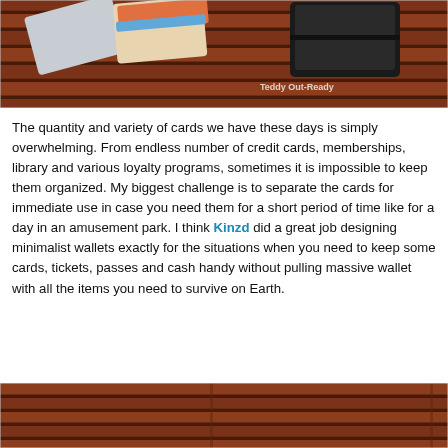[Figure (photo): Photo of credit cards and a black wallet lying on wooden slats of a bench. Watermark text 'Teddy Out-Ready' in bottom right corner.]
The quantity and variety of cards we have these days is simply overwhelming. From endless number of credit cards, memberships, library and various loyalty programs, sometimes it is impossible to keep them organized. My biggest challenge is to separate the cards for immediate use in case you need them for a short period of time like for a day in an amusement park. I think Kinzd did a great job designing minimalist wallets exactly for the situations when you need to keep some cards, tickets, passes and cash handy without pulling massive wallet with all the items you need to survive on Earth.
[Figure (photo): Partial photo showing close-up of wooden bench slats.]